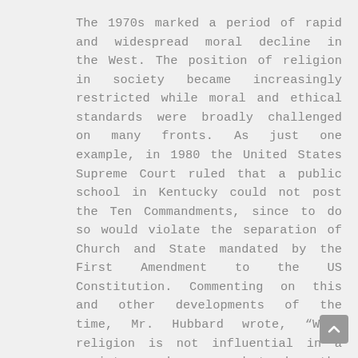The 1970s marked a period of rapid and widespread moral decline in the West. The position of religion in society became increasingly restricted while moral and ethical standards were broadly challenged on many fronts. As just one example, in 1980 the United States Supreme Court ruled that a public school in Kentucky could not post the Ten Commandments, since to do so would violate the separation of Church and State mandated by the First Amendment to the US Constitution. Commenting on this and other developments of the time, Mr. Hubbard wrote, “When religion is not influential in a society or has ceased to be, the state inherits the entire burden of public morality, crime and intolerance. It then must use punishment and police. Yet this is unsuccessful as